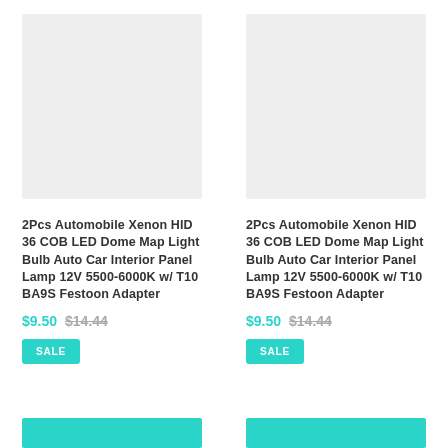[Figure (photo): Product image placeholder - light gray rectangle for left product]
2Pcs Automobile Xenon HID 36 COB LED Dome Map Light Bulb Auto Car Interior Panel Lamp 12V 5500-6000K w/ T10 BA9S Festoon Adapter
$9.50 $14.44
SALE
[Figure (photo): Product image placeholder - light gray rectangle for right product]
2Pcs Automobile Xenon HID 36 COB LED Dome Map Light Bulb Auto Car Interior Panel Lamp 12V 5500-6000K w/ T10 BA9S Festoon Adapter
$9.50 $14.44
SALE